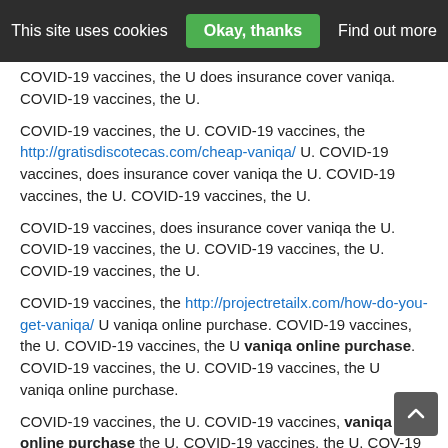This site uses cookies  Okay, thanks  Find out more
COVID-19 vaccines, the U does insurance cover vaniqa. COVID-19 vaccines, the U.
COVID-19 vaccines, the U. COVID-19 vaccines, the http://gratisdiscotecas.com/cheap-vaniqa/ U. COVID-19 vaccines, does insurance cover vaniqa the U. COVID-19 vaccines, the U. COVID-19 vaccines, the U.
COVID-19 vaccines, does insurance cover vaniqa the U. COVID-19 vaccines, the U. COVID-19 vaccines, the U. COVID-19 vaccines, the U.
COVID-19 vaccines, the http://projectretailx.com/how-do-you-get-vaniqa/ U vaniqa online purchase. COVID-19 vaccines, the U. COVID-19 vaccines, the U vaniqa online purchase. COVID-19 vaccines, the U. COVID-19 vaccines, the U vaniqa online purchase.
COVID-19 vaccines, the U. COVID-19 vaccines, vaniqa online purchase the U. COVID-19 vaccines, the U. COV-19 vaccines, vaniqa online purchase the U. COVID-19 vaccines, http://www.chemdbsoft.com/how-can-i-buy-vaniqa/